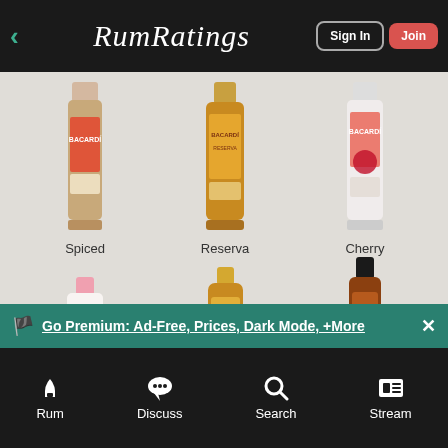RumRatings — Sign In | Join
[Figure (screenshot): Screenshot of RumRatings mobile app showing a grid of rum bottle product images. Top row shows three Bacardi bottles labeled Spiced, Reserva, and Cherry. Bottom row shows three more Bacardi bottles (partially visible). A 'Top' scroll button appears at bottom right. A teal promotional banner reads 'Go Premium: Ad-Free, Prices, Dark Mode, +More'. Bottom navigation bar has icons for Rum, Discuss, Search, and Stream.]
Rum  Discuss  Search  Stream